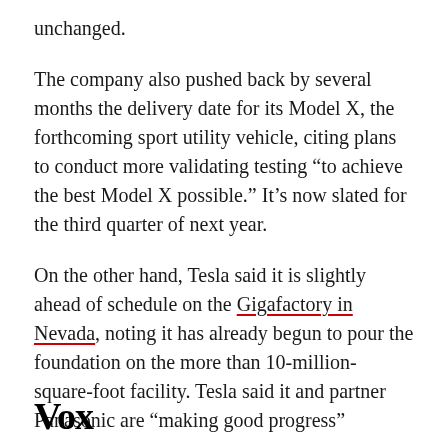unchanged.
The company also pushed back by several months the delivery date for its Model X, the forthcoming sport utility vehicle, citing plans to conduct more validating testing “to achieve the best Model X possible.” It’s now slated for the third quarter of next year.
On the other hand, Tesla said it is slightly ahead of schedule on the Gigafactory in Nevada, noting it has already begun to pour the foundation on the more than 10-million-square-foot facility. Tesla said it and partner Panasonic are “making good progress”
Vox